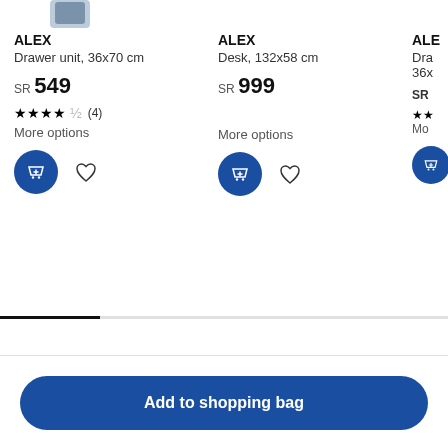ALEX
Drawer unit, 36x70 cm
SR 549
★★★★½ (4)
More options
ALEX
Desk, 132x58 cm
SR 999
More options
ALE
Dra
36x
SR
★★
Mo
Back to top
Add to shopping bag